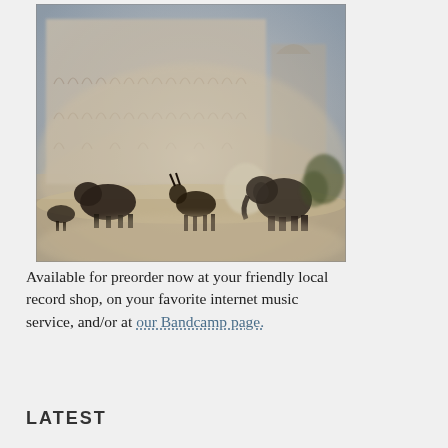[Figure (illustration): A sepia-toned atmospheric illustration showing animals (a bear or large mammal, an antelope/gazelle, an elephant, and other animals) walking through a dusty haze in front of a large arched building resembling a Middle Eastern or Persian architectural structure with multiple arched windows across its facade.]
Available for preorder now at your friendly local record shop, on your favorite internet music service, and/or at our Bandcamp page.
LATEST